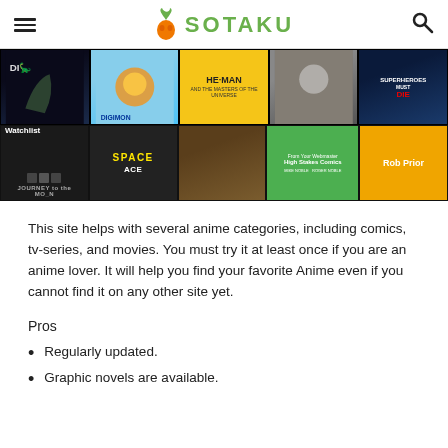SOTAKU
[Figure (screenshot): Screenshot of the Sotaku website showing a grid of anime and movie covers including Dinosaur, Digimon, He-Man, an action movie, Superheroes Must Die, Journey to the Moon, Space, wildlife, High Stakes Comics, and Rob Prior. A Watchlist section label is visible.]
This site helps with several anime categories, including comics, tv-series, and movies. You must try it at least once if you are an anime lover. It will help you find your favorite Anime even if you cannot find it on any other site yet.
Pros
Regularly updated.
Graphic novels are available.